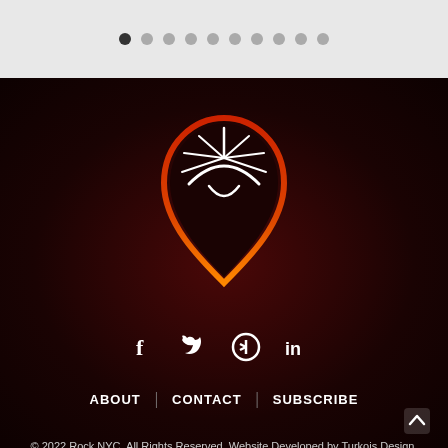[Figure (other): Pagination dots row with 10 dots, first dot is dark/active, rest are gray]
[Figure (logo): Guitar pick shaped logo with white sun/rays design inside, outlined in red-to-orange gradient, on dark maroon background]
[Figure (other): Social media icons row: Facebook (f), Twitter (bird), Spotify (circle), LinkedIn (in) — all white on dark background]
ABOUT  |  CONTACT  |  SUBSCRIBE
© 2022 Rock NYC. All Rights Reserved. Website Developed by Turkois Design, LLC.